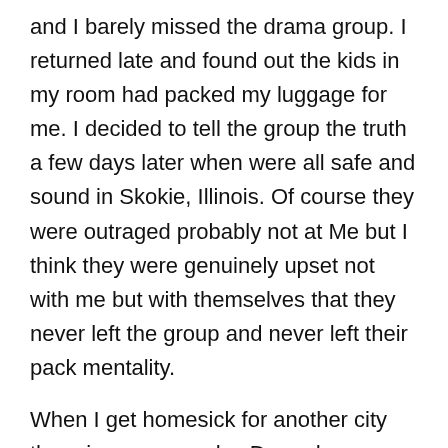and I barely missed the drama group. I returned late and found out the kids in my room had packed my luggage for me. I decided to tell the group the truth a few days later when were all safe and sound in Skokie, Illinois. Of course they were outraged probably not at Me but I think they were genuinely upset not with me but with themselves that they never left the group and never left their pack mentality.
When I get homesick for another city there is a reason why. Deep down inside I think we have a yearning to grow and expand. We have to challenge ourselves as humans. I have never regretted a trip nor have regretted failed relationships or experiences in a strange city. I could trace back in time and correct all those mistakes but I would not be the same person today.
I want to ultimately be free but to be free you have to...